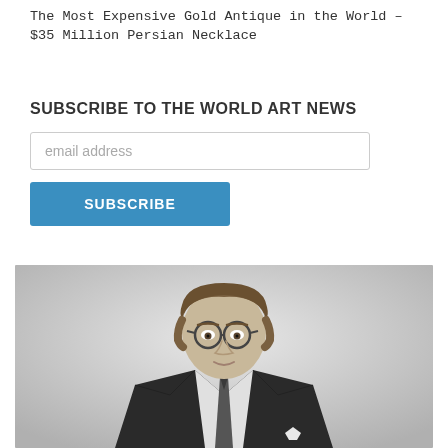The Most Expensive Gold Antique in the World – $35 Million Persian Necklace
SUBSCRIBE TO THE WORLD ART NEWS
email address
SUBSCRIBE
[Figure (photo): Black and white portrait photo of a young man wearing glasses, a dark suit and tie, looking directly at the camera with arms crossed, against a light grey gradient background.]